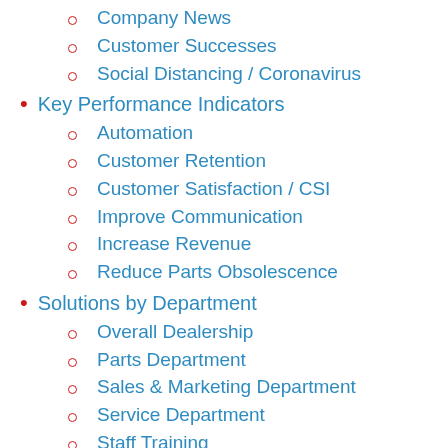Company News
Customer Successes
Social Distancing / Coronavirus
Key Performance Indicators
Automation
Customer Retention
Customer Satisfaction / CSI
Improve Communication
Increase Revenue
Reduce Parts Obsolescence
Solutions by Department
Overall Dealership
Parts Department
Sales & Marketing Department
Service Department
Staff Training
Uncategorized